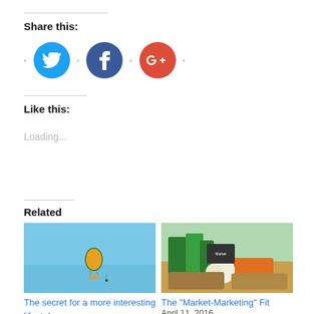Share this:
[Figure (illustration): Social share buttons: Twitter (blue circle), Facebook (dark blue circle), Google+ (red circle) with dots between them]
Like this:
Loading...
Related
[Figure (photo): Hot air balloon against a light blue sky]
The secret for a more interesting life: take more risks
[Figure (photo): Market vegetables: carrots, onions and greens in baskets with chalkboard signs]
The "Market-Marketing" Fit
April 11, 2016